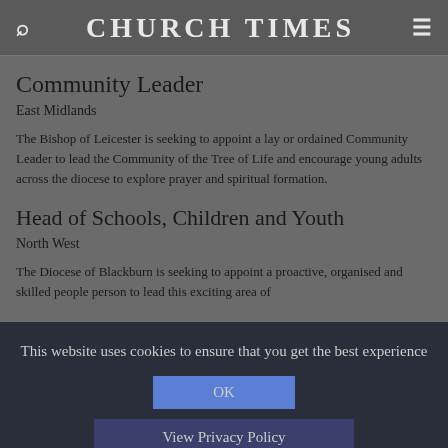CHURCH TIMES
Community Leader
East Midlands
The Bishop of Leicester is seeking to appoint a lay or ordained Community Leader to lead the Community of the Tree of Life and encourage young adults across the diocese to explore prayer and spiritual formation.
Head of Schools, Children and Youth
North West
The Diocese of Blackburn is seeking to appoint a proactive, organised and skilled people person to lead this exciting area of
This website uses cookies to ensure that you get the best experience
OK
View Privacy Policy